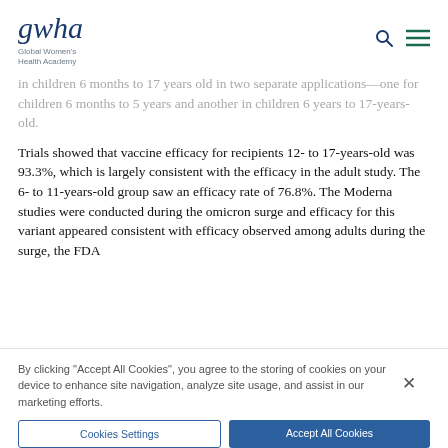gwha Global Women's Health Academy
in children 6 months to 17 years old in two separate applications—one for children 6 months to 5 years and another in children 6 years to 17-years-old.
Trials showed that vaccine efficacy for recipients 12- to 17-years-old was 93.3%, which is largely consistent with the efficacy in the adult study. The 6- to 11-years-old group saw an efficacy rate of 76.8%. The Moderna studies were conducted during the omicron surge and efficacy for this variant appeared consistent with efficacy observed among adults during the surge, the FDA
By clicking "Accept All Cookies", you agree to the storing of cookies on your device to enhance site navigation, analyze site usage, and assist in our marketing efforts.